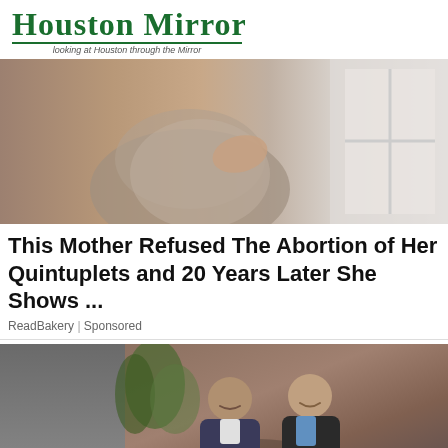Houston Mirror — Looking at Houston through the Mirror
[Figure (photo): Close-up of a pregnant woman in a gray top, hands cradling her belly, standing near a window]
This Mother Refused The Abortion of Her Quintuplets and 20 Years Later She Shows ...
ReadBakery | Sponsored
[Figure (photo): Two men smiling, posing together, with green plants and dark background behind them]